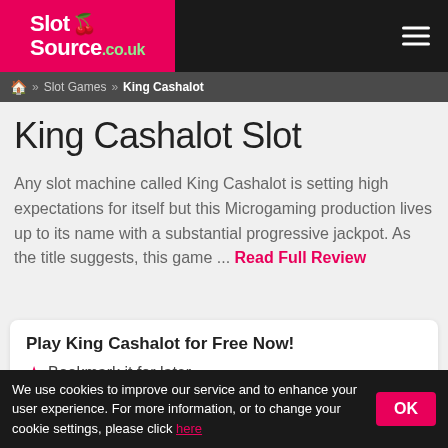Slot Source .co.uk
Home » Slot Games » King Cashalot
King Cashalot Slot
Any slot machine called King Cashalot is setting high expectations for itself but this Microgaming production lives up to its name with a substantial progressive jackpot. As the title suggests, this game ... Read Full Review
Play King Cashalot for Free Now! ★ Bookmark it for later
We use cookies to improve our service and to enhance your user experience. For more information, or to change your cookie settings, please click here